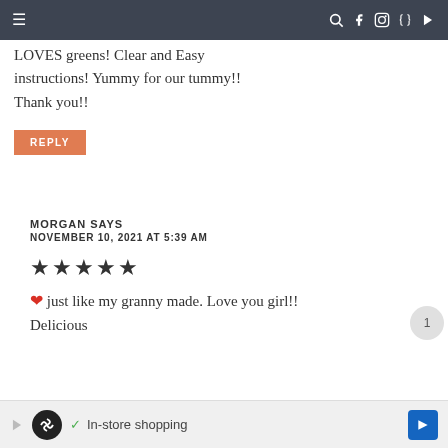≡   🔍 f 📷 p ▶
LOVES greens! Clear and Easy instructions! Yummy for our tummy!! Thank you!!
REPLY
MORGAN SAYS
NOVEMBER 10, 2021 AT 5:39 AM
★★★★★ (5 stars)
❤ just like my granny made. Love you girl!! Delicious
✓ In-store shopping